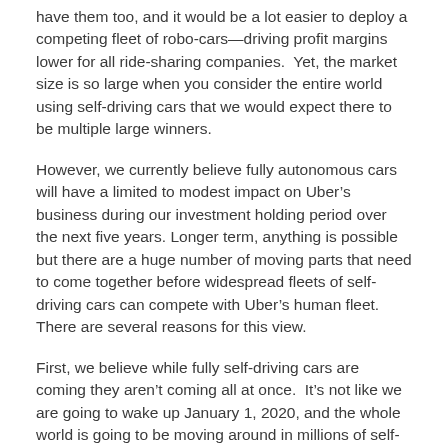have them too, and it would be a lot easier to deploy a competing fleet of robo-cars—driving profit margins lower for all ride-sharing companies.  Yet, the market size is so large when you consider the entire world using self-driving cars that we would expect there to be multiple large winners.
However, we currently believe fully autonomous cars will have a limited to modest impact on Uber's business during our investment holding period over the next five years. Longer term, anything is possible but there are a huge number of moving parts that need to come together before widespread fleets of self-driving cars can compete with Uber's human fleet.  There are several reasons for this view.
First, we believe while fully self-driving cars are coming they aren't coming all at once.  It's not like we are going to wake up January 1, 2020, and the whole world is going to be moving around in millions of self-driving cars. We believe the full global roll out